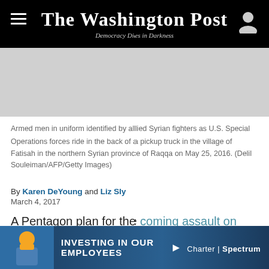The Washington Post — Democracy Dies in Darkness
[Figure (photo): Gray placeholder image area for a photo of armed men in uniform in a pickup truck in Syria]
Armed men in uniform identified by allied Syrian fighters as U.S. Special Operations forces ride in the back of a pickup truck in the village of Fatisah in the northern Syrian province of Raqqa on May 25, 2016. (Delil Souleiman/AFP/Getty Images)
By Karen DeYoung and Liz Sly
March 4, 2017
A Pentagon plan for the coming assault on Raqqa, the Islamic State capital in Syria, calls for significant U.S. military participation, including increased Special
[Figure (photo): Charter Spectrum advertisement banner: INVESTING IN OUR EMPLOYEES with worker photo]